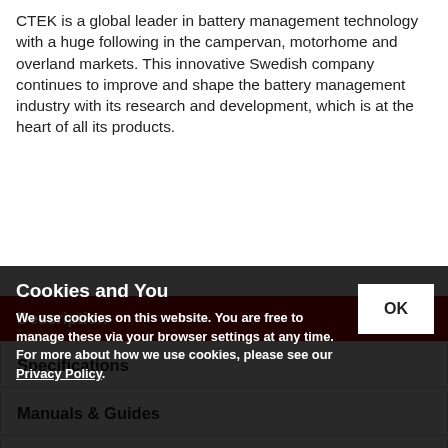CTEK is a global leader in battery management technology with a huge following in the campervan, motorhome and overland markets. This innovative Swedish company continues to improve and shape the battery management industry with its research and development, which is at the heart of all its products.
Description
Specifications
Manuals & Guides
Customer Reviews 3
Using award-winning Swedish technology, the CTEK D250SE is a fully automatic long range DC-DC (battery-to-battery) charger and MPPT solar charge controller in a single, compact unit and is the successor to the hugely popular D250SA model. It enables you to charge a second lead-acid or lithium battery on the move, ensuring it's ready to power your 12V systems when you reach your destination. It has separate inputs for alternator and solar, allowing your battery to be charged for
Cookies and You
We use cookies on this website. You are free to manage these via your browser settings at any time. For more about how we use cookies, please see our Privacy Policy.
OK